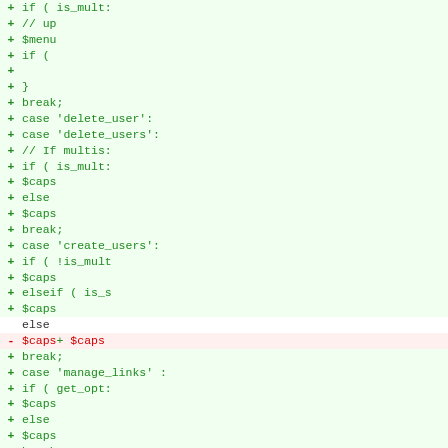[Figure (screenshot): Code diff view showing PHP code additions and one deletion related to capability checks for user management actions (delete_user, delete_users, create_users, manage_links, customize). Added lines shown in green with '+' markers on a light green background; removed line shown in red with '-' marker on light red background.]